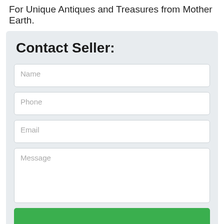For Unique Antiques and Treasures from Mother Earth.
Contact Seller:
Name
Phone
Email
Message